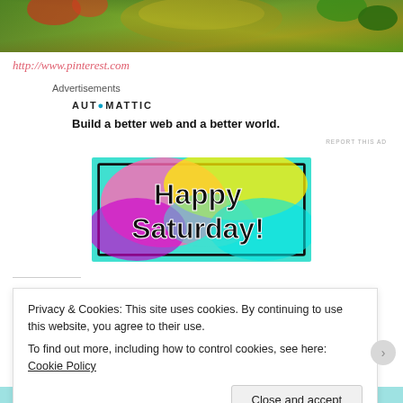[Figure (photo): Top banner photo showing colorful flowers and foliage with golden/green colors]
http://www.pinterest.com
Advertisements
AUTOMATTIC
Build a better web and a better world.
REPORT THIS AD
[Figure (illustration): Colorful tie-dye background image with bold black text reading 'Happy Saturday!' in a rectangle with teal border]
Privacy & Cookies: This site uses cookies. By continuing to use this website, you agree to their use.
To find out more, including how to control cookies, see here: Cookie Policy
Close and accept